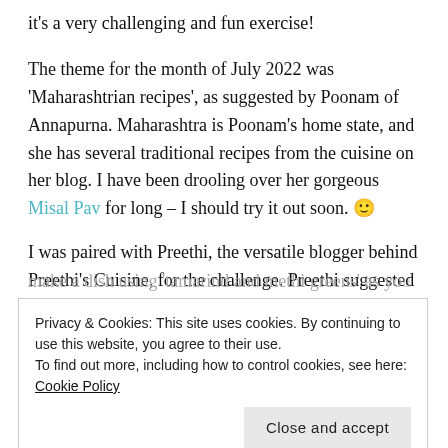it's a very challenging and fun exercise!
The theme for the month of July 2022 was 'Maharashtrian recipes', as suggested by Poonam of Annapurna. Maharashtra is Poonam's home state, and she has several traditional recipes from the cuisine on her blog. I have been drooling over her gorgeous Misal Pav for long – I should try it out soon. 🙂
I was paired with Preethi, the versatile blogger behind Preethi's Cuisine, for the challenge. Preethi suggested I make a dish using 'tamarind and methi greens' as you...
Privacy & Cookies: This site uses cookies. By continuing to use this website, you agree to their use.
To find out more, including how to control cookies, see here: Cookie Policy
Close and accept
How to make Methi Tamle...